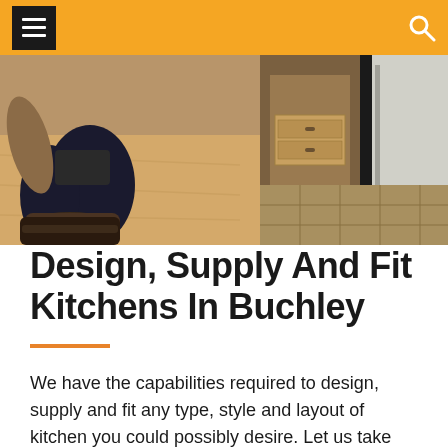Navigation bar with menu and search icons
[Figure (photo): A person kneeling and installing or fitting kitchen cabinetry on a wooden floor, with cabinet units and wooden frame visible]
Design, Supply And Fit Kitchens In Buchley
We have the capabilities required to design, supply and fit any type, style and layout of kitchen you could possibly desire. Let us take the kitchen design you have in mind, translate it (via